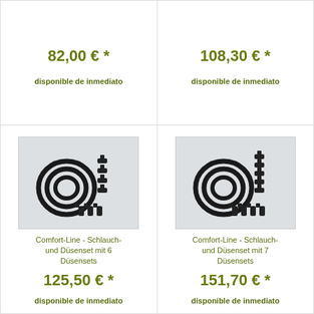82,00 € *
disponible de inmediato
108,30 € *
disponible de inmediato
[Figure (photo): Comfort-Line hose and nozzle set with 6 nozzle sets — coiled black tubes and multiple nozzle fittings]
Comfort-Line - Schlauch- und Düsenset mit 6 Düsensets
125,50 € *
disponible de inmediato
[Figure (photo): Comfort-Line hose and nozzle set with 7 nozzle sets — coiled black tubes and multiple nozzle fittings]
Comfort-Line - Schlauch- und Düsenset mit 7 Düsensets
151,70 € *
disponible de inmediato